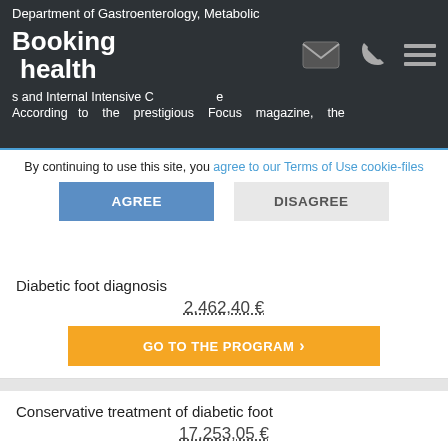Department of Gastroenterology, Metabolic Diseases and Internal Intensive Care
According to the prestigious Focus magazine, the
By continuing to use this site, you agree to our Terms of Use cookie-files
AGREE | DISAGREE
Diabetic foot diagnosis
2.462,40 €
GO TO THE PROGRAM
Conservative treatment of diabetic foot
17.253,05 €
GO TO THE PROGRAM
Open endarterectomy or angioplasty of lower extremity arterial disease diabetes foot syndrome
38.168,35 €
GO TO THE PROGRAM